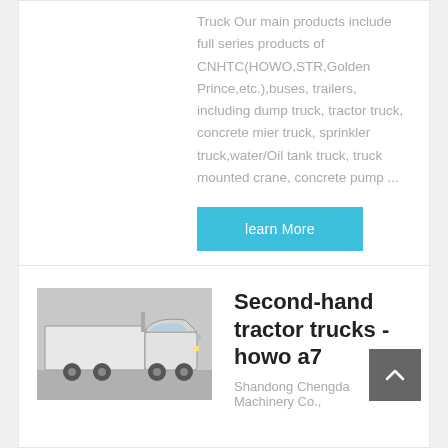Truck Our main products include full series products of CNHTC(HOWO,STR,Golden Prince,etc.),buses, trailers, including dump truck, tractor truck, concrete mier truck, sprinkler truck,water/Oil tank truck, truck mounted crane, concrete pump ...
learn More
[Figure (photo): A white tractor truck / semi-truck cab (HOWO A7) parked outdoors on a paved surface.]
Second-hand tractor trucks - howo a7
Shandong Chengda Machinery Co.,